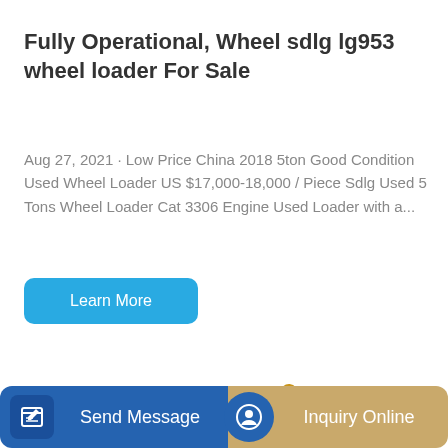Fully Operational, Wheel sdlg lg953 wheel loader For Sale
Aug 27, 2021 · Low Price China 2018 5ton Good Condition Used Wheel Loader US $17,000-18,000 / Piece Sdlg Used 5 Tons Wheel Loader Cat 3306 Engine Used Loader with a...
[Figure (other): Blue 'Learn More' button]
[Figure (photo): Yellow SANY excavator/wheel loader machinery on white background]
Send Message   Inquiry Online